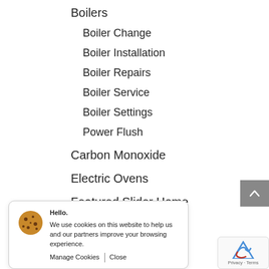Boilers
Boiler Change
Boiler Installation
Boiler Repairs
Boiler Service
Boiler Settings
Power Flush
Carbon Monoxide
Electric Ovens
Featured Slider Home
Gas Cookers
Cooker Repairs
Hello.
We use cookies on this website to help us and our partners improve your browsing experience.
Manage Cookies   Close
Privacy · Terms